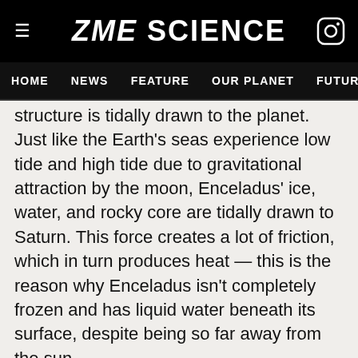ZME SCIENCE
HOME  NEWS  FEATURE  OUR PLANET  FUTURE  HEALT
structure is tidally drawn to the planet. Just like the Earth’s seas experience low tide and high tide due to gravitational attraction by the moon, Enceladus’ ice, water, and rocky core are tidally drawn to Saturn. This force creates a lot of friction, which in turn produces heat — this is the reason why Enceladus isn’t completely frozen and has liquid water beneath its surface, despite being so far away from the sun.
But due to its eccentric orbit, Enceladus is sometimes closer to Saturn, and other times a little farther away — which causes the